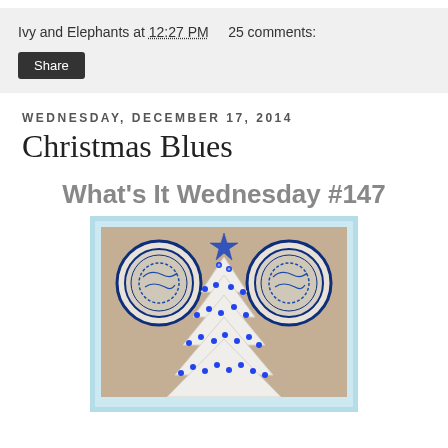Ivy and Elephants at 12:27 PM    25 comments:
Share
Wednesday, December 17, 2014
Christmas Blues
What's It Wednesday #147
[Figure (photo): White ceramic Christmas tree with blue lights, decorated with blue and white willow pattern plates on the wall behind it, and a blue star topper]